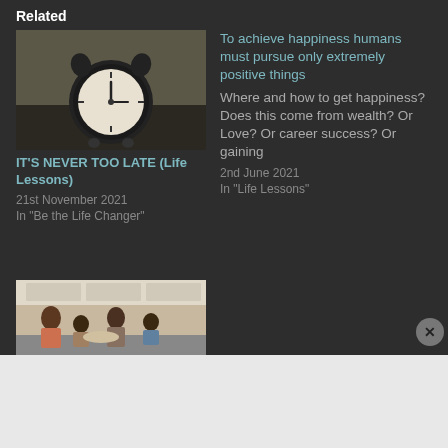Related
[Figure (photo): A black alarm clock on a dark wooden surface]
IT'S NEVER TOO LATE (Life Lessons)
21st November 2021
In "Be the Life Changer"
To achieve happiness humans must pursue only extremely positive things
Where and how to get happiness? Does this come from wealth? Or Love? Or career success? Or gaining
2nd June 2021
In "Life Lessons"
[Figure (photo): A family cooking together in a kitchen — father, two children, and mother preparing food]
Advertisements
[Figure (screenshot): DuckDuckGo advertisement banner: Search, browse, and email with more privacy. All in One Free App.]